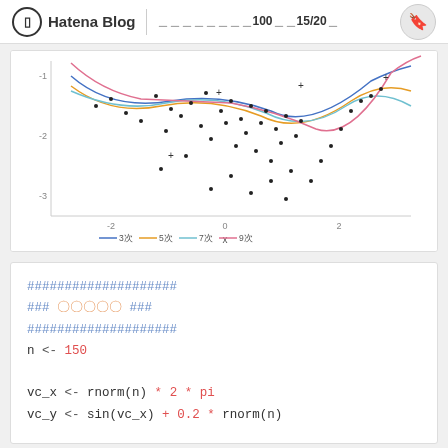Hatena Blog　＿＿＿＿＿＿＿＿＿100＿＿15/20＿
[Figure (continuous-plot): Scatter plot with polynomial regression curves (3次, 5次, 7次, 9次) overlaid on data points. X-axis ranges from about -2 to 2.5, Y-axis from about -3 to near 0. Multiple colored curves (blue, orange, blue-teal, pink) fit through scattered black dot data points.]
— 3次  — 5次  — 7次  — 9次
####################
### 〇〇〇〇〇 ###
####################
n <- 150

vc_x <- rnorm(n) * 2 * pi
vc_y <- sin(vc_x) + 0.2 * rnorm(n)